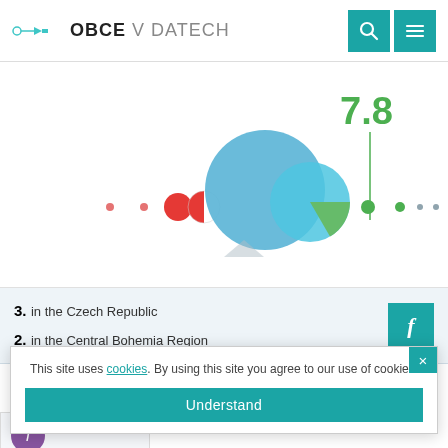OBCE V DATECH
[Figure (bubble-chart): Bubble chart showing municipal data with a large blue bubble (score ~7.8), a medium blue bubble, a red circle, a small red/green split circle, a large green segment bubble, and small dots representing other municipalities along a horizontal axis. The value 7.8 is displayed above the main bubble cluster.]
3. in the Czech Republic
2. in the Central Bohemia Region
Main categories
This site uses cookies. By using this site you agree to our use of cookies.
Understand
We have
municipal...